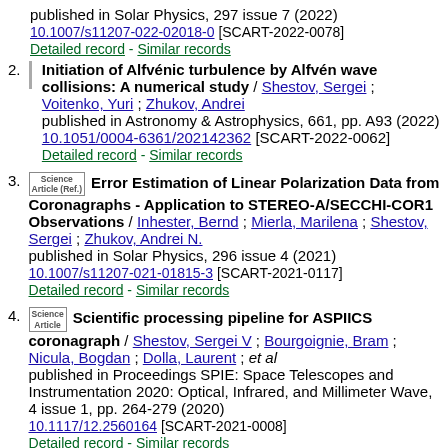published in Solar Physics, 297 issue 7 (2022)
10.1007/s11207-022-02018-0 [SCART-2022-0078]
Detailed record - Similar records
2. Initiation of Alfvénic turbulence by Alfvén wave collisions: A numerical study / Shestov, Sergei ; Voitenko, Yuri ; Zhukov, Andrei
published in Astronomy & Astrophysics, 661, pp. A93 (2022) 10.1051/0004-6361/202142362 [SCART-2022-0062]
Detailed record - Similar records
3. Science Article (Ref.) Error Estimation of Linear Polarization Data from Coronagraphs - Application to STEREO-A/SECCHI-COR1 Observations / Inhester, Bernd ; Mierla, Marilena ; Shestov, Sergei ; Zhukov, Andrei N.
published in Solar Physics, 296 issue 4 (2021)
10.1007/s11207-021-01815-3 [SCART-2021-0117]
Detailed record - Similar records
4. Science Article Scientific processing pipeline for ASPIICS coronagraph / Shestov, Sergei V ; Bourgoignie, Bram ; Nicula, Bogdan ; Dolla, Laurent ; et al
published in Proceedings SPIE: Space Telescopes and Instrumentation 2020: Optical, Infrared, and Millimeter Wave, 4 issue 1, pp. 264-279 (2020)
10.1117/12.2560164 [SCART-2021-0008]
Detailed record - Similar records